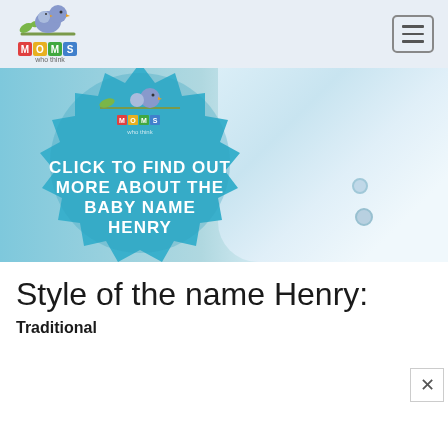Moms Who Think
[Figure (illustration): Promotional banner for baby name Henry on momswhothink.com. Left half shows a blue badge/seal with cartoon bird logo and text 'CLICK TO FIND OUT MORE ABOUT THE BABY NAME HENRY'. Right half shows a close-up of white baby clothing with blue tint.]
Style of the name Henry:
Traditional